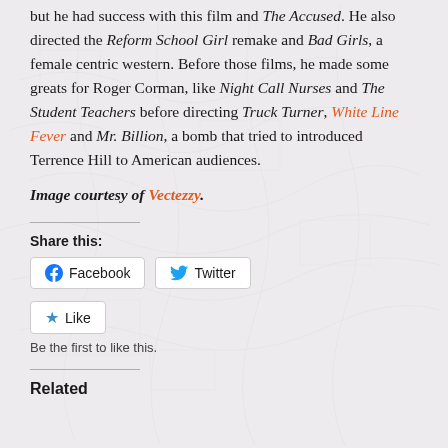but he had success with this film and The Accused. He also directed the Reform School Girl remake and Bad Girls, a female centric western. Before those films, he made some greats for Roger Corman, like Night Call Nurses and The Student Teachers before directing Truck Turner, White Line Fever and Mr. Billion, a bomb that tried to introduced Terrence Hill to American audiences.
Image courtesy of Vectezzy.
Share this:
Facebook
Twitter
Like
Be the first to like this.
Related